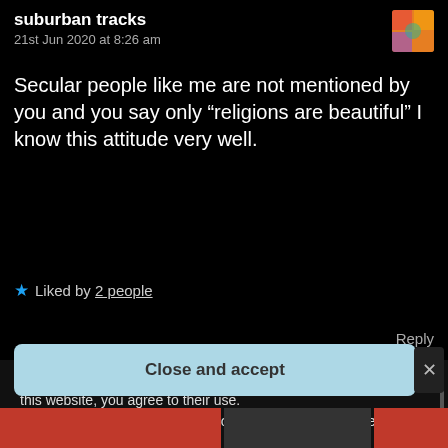suburban tracks
21st Jun 2020 at 8:26 am
Secular people like me are not mentioned by you and you say only “religions are beautiful” I know this attitude very well.
★ Liked by 2 people
Reply
Privacy & Cookies: This site uses cookies. By continuing to use this website, you agree to their use.
To find out more, including how to control cookies, see here:
Cookie Policy
Close and accept